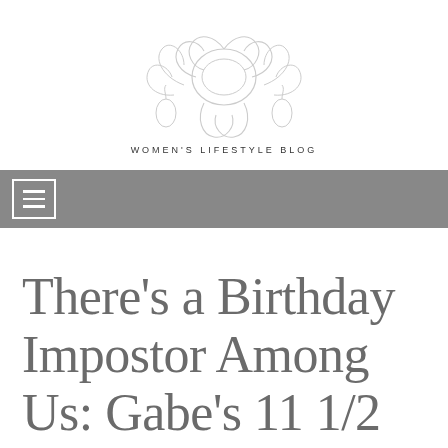[Figure (logo): Women's lifestyle blog logo with floral illustration and text 'WOMEN'S LIFESTYLE BLOG']
☰
There's a Birthday Impostor Among Us: Gabe's 11 1/2 Birthday Party